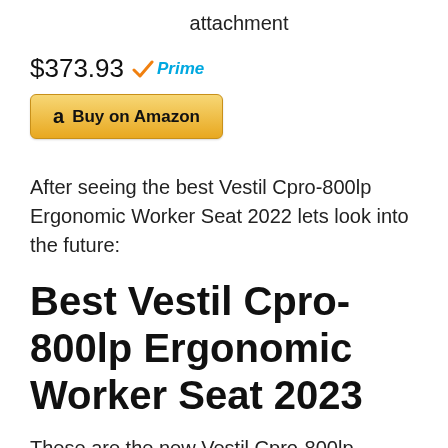attachment
$373.93 ✓Prime
[Figure (other): Buy on Amazon button with Amazon logo]
After seeing the best Vestil Cpro-800lp Ergonomic Worker Seat 2022 lets look into the future:
Best Vestil Cpro-800lp Ergonomic Worker Seat 2023
These are the new Vestil Cpro-800lp Ergonomic Worker Seat releases